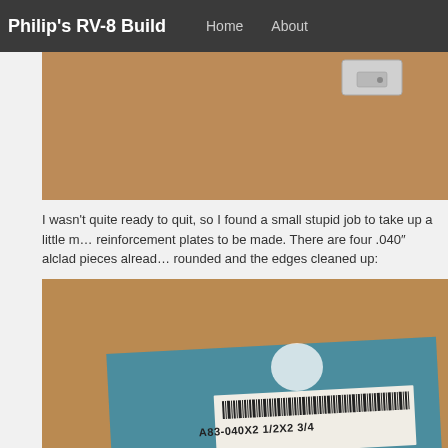Philip's RV-8 Build    Home    About
[Figure (photo): Close-up photo of a small metal bracket/reinforcement plate on a brown cardboard surface]
I wasn't quite ready to quit, so I found a small stupid job to take up a little more time. There are reinforcement plates to be made. There are four .040" alclad pieces already cut, they just need the corners rounded and the edges cleaned up:
[Figure (photo): Photo of a blue/teal anodized aluminum sheet labeled 'A83-040X2 1/2X2 3/4' with a barcode sticker, placed on a brown cardboard surface]